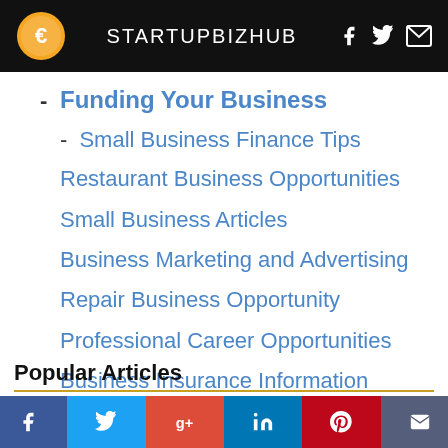STARTUPBIZHUB
- Funding Your Business
- Small Business Finance Tips
Restaurant Business Opportunities
Small Business Articles
Business Marketing and Advertising
Repair Business Opportunity
Professional Career Opportunities
Business Insurance Information
Instructor Guides
Popular Articles
Grants for Starting a Daycare
Women Busi...
[Figure (infographic): Social share bar with Facebook, Twitter, Google+, LinkedIn, Pinterest, and email icons]